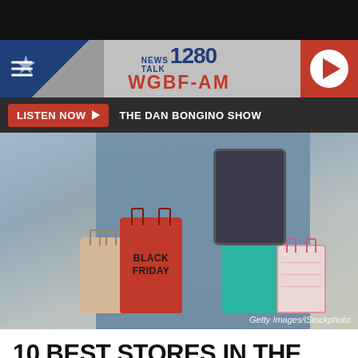[Figure (screenshot): Website header for NewsTalk 1280 WGBF-AM radio station with Texas flag background, station logo, and red play button]
LISTEN NOW  THE DAN BONGINO SHOW
[Figure (photo): Woman holding a tablet and Black Friday shopping bags including a prominent red bag labeled BLACK FRIDAY, teal bag, pink patterned bag, and beige bag]
Getty Images/iStockphoto
10 BEST STORES IN THE TRI-